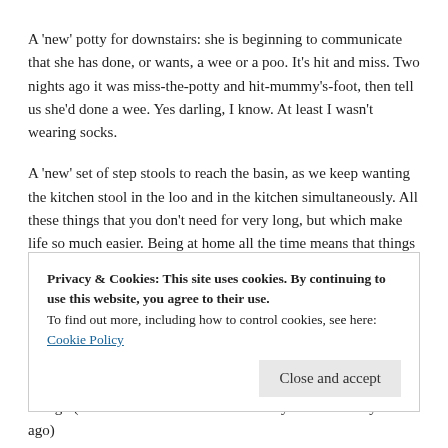A 'new' potty for downstairs: she is beginning to communicate that she has done, or wants, a wee or a poo. It's hit and miss. Two nights ago it was miss-the-potty and hit-mummy's-foot, then tell us she'd done a wee. Yes darling, I know. At least I wasn't wearing socks.
A 'new' set of step stools to reach the basin, as we keep wanting the kitchen stool in the loo and in the kitchen simultaneously. All these things that you don't need for very long, but which make life so much easier. Being at home all the time means that things we wouldn't have bothered with at all, are now rather more handy (step stools,
Privacy & Cookies: This site uses cookies. By continuing to use this website, you agree to their use. To find out more, including how to control cookies, see here: Cookie Policy
though (the dress was new in the Sainsbury Sale about a year ago)